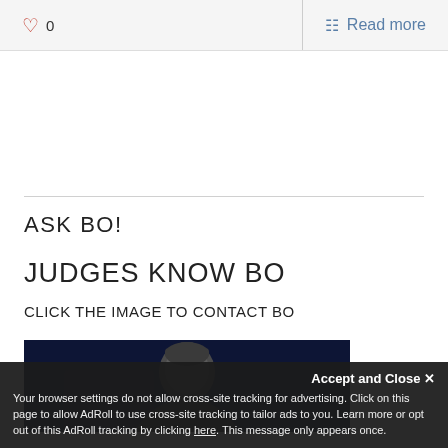♡ 0  |  Read more
ASK BO!
JUDGES KNOW BO
CLICK THE IMAGE TO CONTACT BO
[Figure (photo): Portrait photo of a man against dark blue background]
Accept and Close ×
Your browser settings do not allow cross-site tracking for advertising. Click on this page to allow AdRoll to use cross-site tracking to tailor ads to you. Learn more or opt out of this AdRoll tracking by clicking here. This message only appears once.